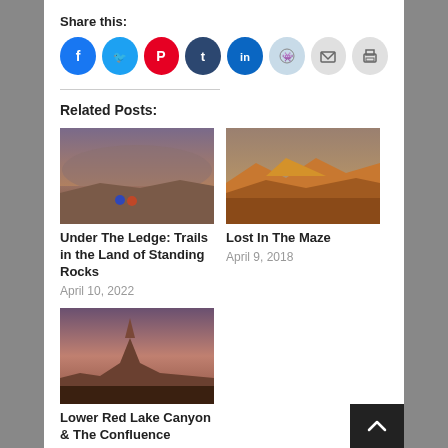Share this:
[Figure (infographic): Social sharing icons: Facebook (blue), Twitter (blue), Pinterest (red), Tumblr (dark), LinkedIn (blue), Reddit (light blue), Email (gray), Print (gray)]
Related Posts:
[Figure (photo): Desert landscape at dusk with two people sitting on red rock formation under dramatic cloudy sky]
Under The Ledge: Trails in the Land of Standing Rocks
April 10, 2022
[Figure (photo): Golden sandstone canyon landscape with warm sunset light on rock formations]
Lost In The Maze
April 9, 2018
[Figure (photo): Desert butte with tall spire rock formation at dusk under pink and purple sky]
Lower Red Lake Canyon & The Confluence